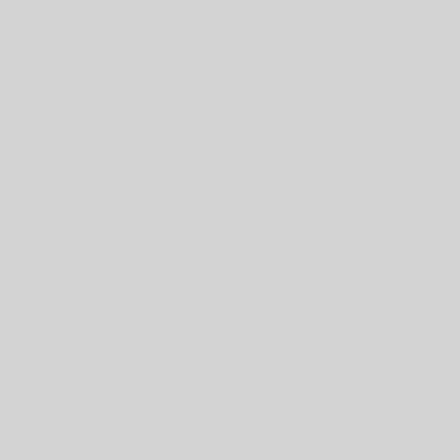| Label | Value | Extra |
| --- | --- | --- |
| Binary: | erlang-xmerl | pi re |
| [erlang-cl section banner] |  |  |
| Source: | erlang-cl | pi su |
| Maintainer: | Debian Erlang Pa devel@lists.alioth |  |
| Uploaders: | Sergei Golovan <s |  |
| Binary: | erlang-cl | pi re |
| [esdl section banner] |  |  |
| Source: | esdl | pi su |
| Maintainer: | Debian Erlang Pa devel@lists.alioth |  |
| Uploaders: | Sergei Golovan <s |  |